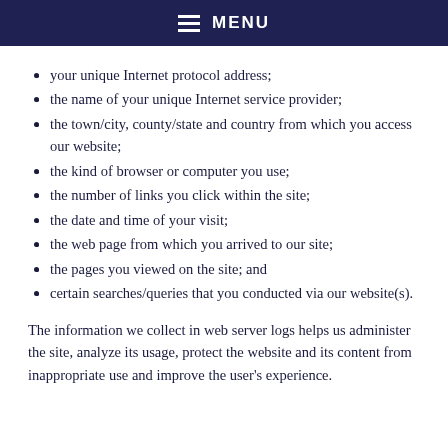MENU
your unique Internet protocol address;
the name of your unique Internet service provider;
the town/city, county/state and country from which you access our website;
the kind of browser or computer you use;
the number of links you click within the site;
the date and time of your visit;
the web page from which you arrived to our site;
the pages you viewed on the site; and
certain searches/queries that you conducted via our website(s).
The information we collect in web server logs helps us administer the site, analyze its usage, protect the website and its content from inappropriate use and improve the user's experience.